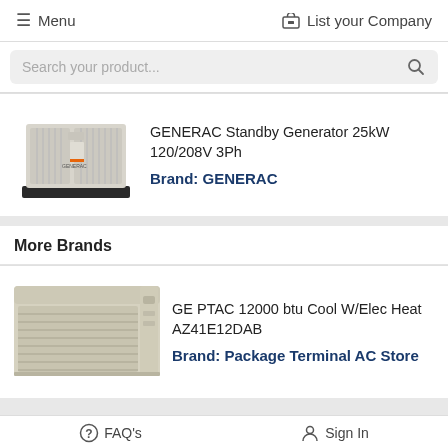Menu   List your Company
Search your product...
[Figure (photo): GENERAC standby generator unit, white/beige color, industrial cabinet style]
GENERAC Standby Generator 25kW 120/208V 3Ph
Brand: GENERAC
More Brands
[Figure (photo): GE PTAC through-the-wall air conditioning unit, beige color, horizontal louvered grille]
GE PTAC 12000 btu Cool W/Elec Heat AZ41E12DAB
Brand: Package Terminal AC Store
FAQ's   Sign In